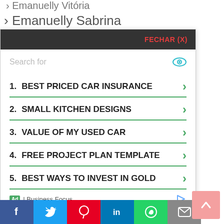› Emanuelly Vitória
› Emanuelly Sabrina
Emanuelly Selene
FECHAR (X)
Search for
1. BEST PRICED CAR INSURANCE
2. SMALL KITCHEN DESIGNS
3. VALUE OF MY USED CAR
4. FREE PROJECT PLAN TEMPLATE
5. BEST WAYS TO INVEST IN GOLD
Ad | Business Focus